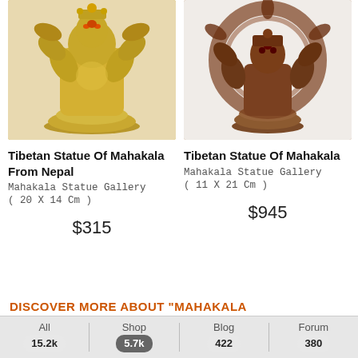[Figure (photo): Gold-colored Tibetan Mahakala statue from Nepal on a white surface]
[Figure (photo): Copper-colored Tibetan Mahakala statue on a white surface]
Tibetan Statue Of Mahakala From Nepal
Tibetan Statue Of Mahakala
Mahakala Statue Gallery
Mahakala Statue Gallery
( 20 X 14 Cm )
( 11 X 21 Cm )
$315
$945
DISCOVER MORE ABOUT "MAHAKALA
All 15.2k | Shop 5.7k | Blog 422 | Forum 380